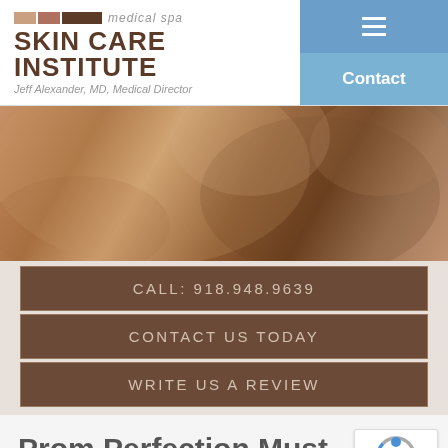[Figure (logo): Skin Care Institute medical spa logo with colored bars and text, Jeff Alexander MD Medical Director]
[Figure (photo): Close-up of smooth skin in warm brown tones, serving as hero banner image]
CALL: 918.948.9639
CONTACT US TODAY
WRITE US A REVIEW
Prom Perfection Must-Have Prom Treatments Tulsa, OK
April 5, 2018 by Skin Care Institute